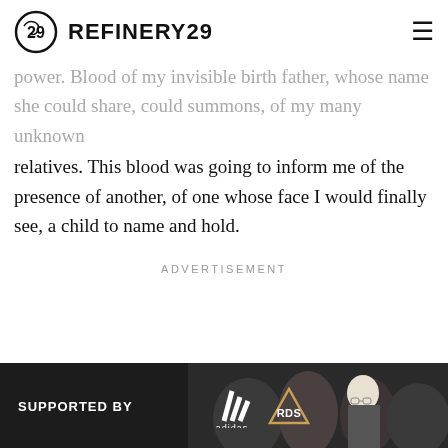REFINERY29
power. Blood of my invisible birth father, whose name she could share, could summons, of my many unknown relatives. This blood was going to inform me of the presence of another, of one whose face I would finally see, a child to name and hold.
ADVERTISEMENT
[Figure (photo): Advertisement banner at bottom showing 'SUPPORTED BY adidas RDS' branding with people in background]